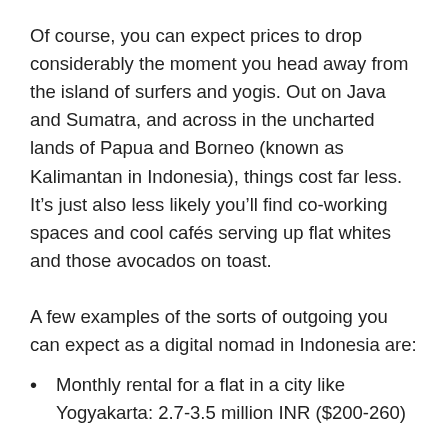Of course, you can expect prices to drop considerably the moment you head away from the island of surfers and yogis. Out on Java and Sumatra, and across in the uncharted lands of Papua and Borneo (known as Kalimantan in Indonesia), things cost far less. It’s just also less likely you’ll find co-working spaces and cool cafés serving up flat whites and those avocados on toast.
A few examples of the sorts of outgoing you can expect as a digital nomad in Indonesia are:
Monthly rental for a flat in a city like Yogyakarta: 2.7-3.5 million INR ($200-260)